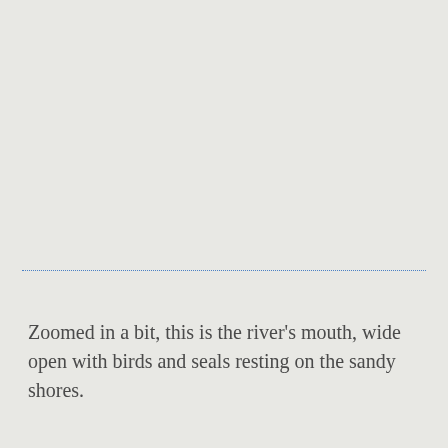[Figure (photo): Empty light gray/beige area representing a zoomed-in photo placeholder of a river's mouth]
Zoomed in a bit, this is the river’s mouth, wide open with birds and seals resting on the sandy shores.